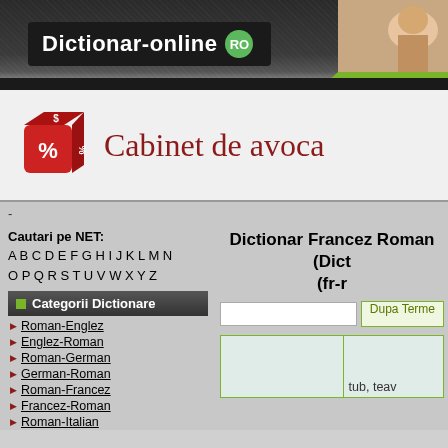Dictionar-online RO
[Figure (screenshot): Ad banner with percentage dice and text 'Cabinet de avoca']
-
Cautari pe NET: A B C D E F G H I J K L M N O P Q R S T U V W X Y Z
Categorii Dictionare
Roman-Englez
Englez-Roman
Roman-German
German-Roman
Roman-Francez
Francez-Roman
Roman-Italian
Dictionar Francez Roman (Dict (fr-r
Dupa Terme
tub, teav